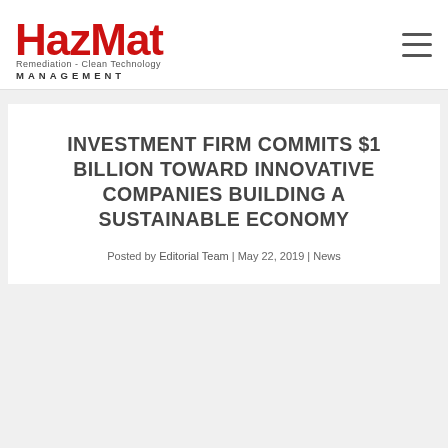[Figure (logo): HazMat Remediation - Clean Technology Management logo in red and black]
INVESTMENT FIRM COMMITS $1 BILLION TOWARD INNOVATIVE COMPANIES BUILDING A SUSTAINABLE ECONOMY
Posted by Editorial Team | May 22, 2019 | News